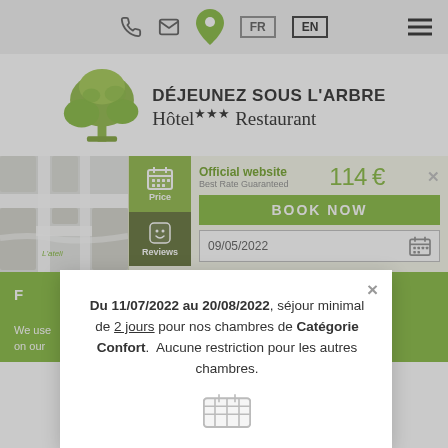[Figure (screenshot): Hotel website screenshot showing navigation bar with phone, email, location icons and FR/EN language switcher]
DÉJEUNEZ SOUS L'ARBRE Hôtel ★★★ Restaurant
[Figure (screenshot): Booking widget showing Official website, Best Rate Guaranteed, 114€, BOOK NOW button, date 09/05/2022]
Du 11/07/2022 au 20/08/2022, séjour minimal de 2 jours pour nos chambres de Catégorie Confort. Aucune restriction pour les autres chambres.
We use cookies on our